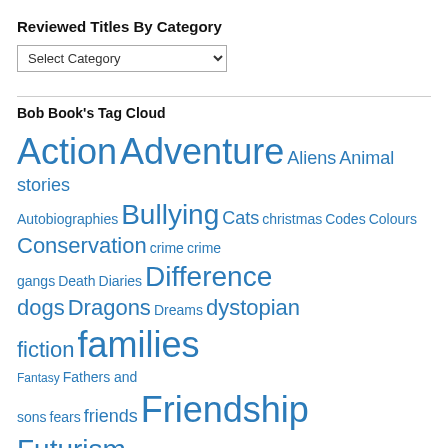Reviewed Titles By Category
Select Category (dropdown)
Bob Book's Tag Cloud
[Figure (infographic): Tag cloud with words in varying sizes and blue color representing book categories: Action, Adventure, Aliens, Animal stories, Autobiographies, Bullying, Cats, christmas, Codes, Colours, Conservation, crime, crime gangs, Death, Diaries, Difference, dogs, Dragons, Dreams, dystopian fiction, families, Fantasy, Fathers and sons, fears, friends, Friendship, Futurism, grandparents, Grief, growing up, Holocaust, Horror, horses, Humerous stories, Humour, Identity, Imagination]